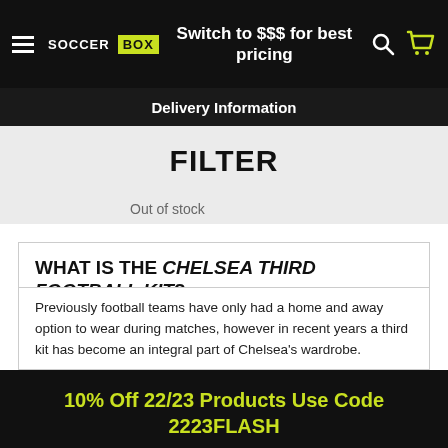Switch to $$$ for best pricing
Delivery Information
FILTER
Out of stock
WHAT IS THE CHELSEA THIRD FOOTBALL KIT?
Previously football teams have only had a home and away option to wear during matches, however in recent years a third kit has become an integral part of Chelsea's wardrobe.
10% Off 22/23 Products Use Code 2223FLASH